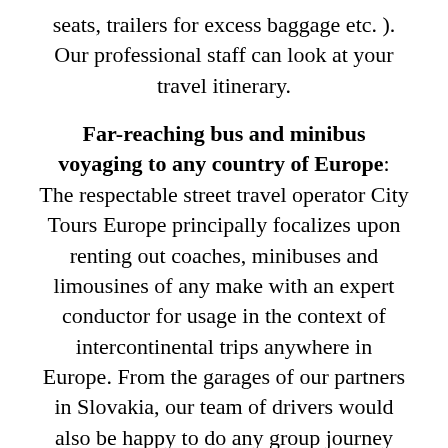seats, trailers for excess baggage etc. ). Our professional staff can look at your travel itinerary.
Far-reaching bus and minibus voyaging to any country of Europe:
The respectable street travel operator City Tours Europe principally focalizes upon renting out coaches, minibuses and limousines of any make with an expert conductor for usage in the context of intercontinental trips anywhere in Europe. From the garages of our partners in Slovakia, our team of drivers would also be happy to do any group journey commencing or terminating in Kežmarok